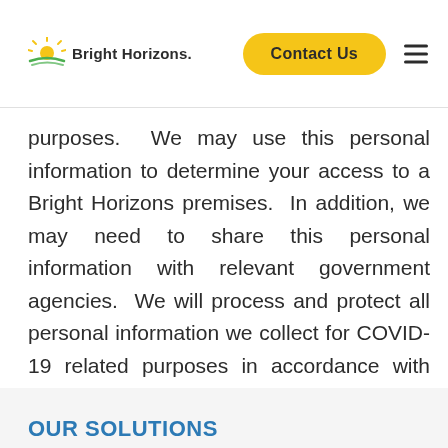Bright Horizons | Contact Us
purposes.  We may use this personal information to determine your access to a Bright Horizons premises.  In addition, we may need to share this personal information with relevant government agencies.  We will process and protect all personal information we collect for COVID-19 related purposes in accordance with this Notice.
OUR SOLUTIONS